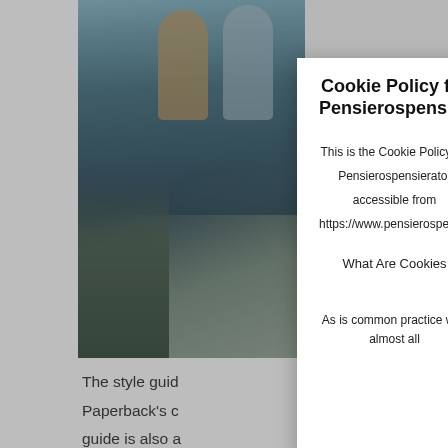[Figure (photo): Background webpage screenshot showing a photo of people in rain/outdoor scene, partially obscured by cookie policy modal overlay]
The style guid Paperback's c guide is also a typographic tr
Right Ali
Images may be two-
Cookie Policy for Pensierospensierato
This is the Cookie Policy for Pensierospensierato, accessible from https://www.pensierospensierato.net/
What Are Cookies
As is common practice with almost all